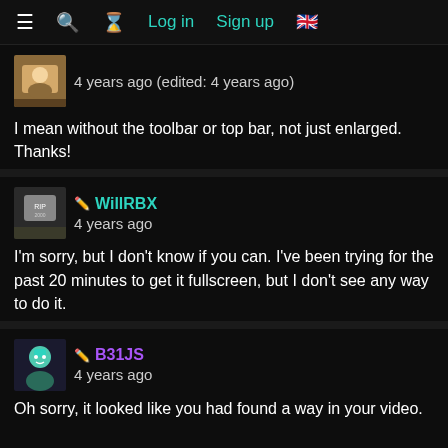≡  🔍  ⏳  Log in  Sign up  🇬🇧
4 years ago (edited: 4 years ago)
I mean without the toolbar or top bar, not just enlarged. Thanks!
✏ WillRBX
4 years ago
I'm sorry, but I don't know if you can. I've been trying for the past 20 minutes to get it fullscreen, but I don't see any way to do it.
✏ B31JS
4 years ago
Oh sorry, it looked like you had found a way in your video.